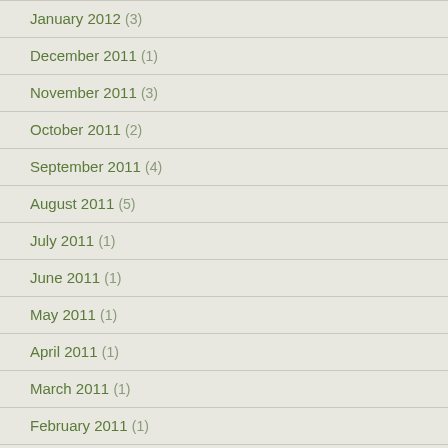January 2012 (3)
December 2011 (1)
November 2011 (3)
October 2011 (2)
September 2011 (4)
August 2011 (5)
July 2011 (1)
June 2011 (1)
May 2011 (1)
April 2011 (1)
March 2011 (1)
February 2011 (1)
December 2010 (1)
November 2010 (1)
October 2010 (1)